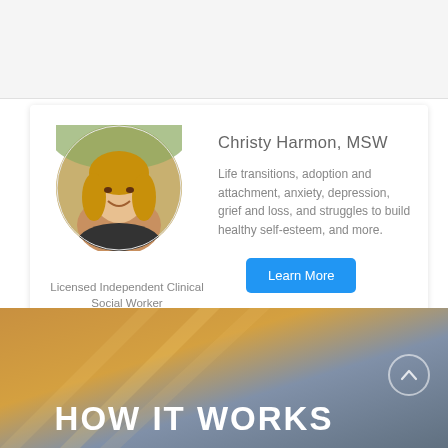[Figure (photo): Top grey navigation bar area]
[Figure (photo): Circular portrait photo of Christy Harmon, a smiling woman with wavy blonde hair, outdoors with green bokeh background]
Licensed Independent Clinical Social Worker
Christy Harmon, MSW
Life transitions, adoption and attachment, anxiety, depression, grief and loss, and struggles to build healthy self-esteem, and more.
Learn More
[Figure (photo): Warm sunset gradient background (orange, gold, blue-grey tones) for the 'How It Works' section]
HOW IT WORKS